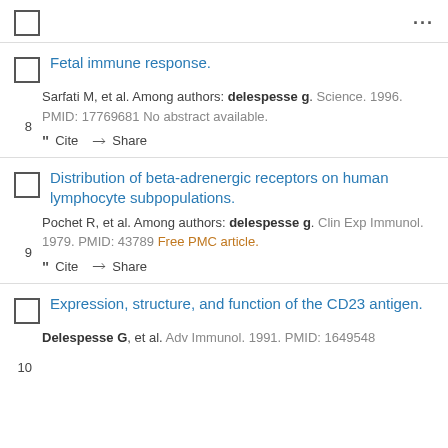...
Fetal immune response.
Sarfati M, et al. Among authors: delespesse g. Science. 1996. PMID: 17769681 No abstract available.
Distribution of beta-adrenergic receptors on human lymphocyte subpopulations.
Pochet R, et al. Among authors: delespesse g. Clin Exp Immunol. 1979. PMID: 43789 Free PMC article.
Expression, structure, and function of the CD23 antigen.
Delespesse G, et al. Adv Immunol. 1991. PMID: 1649548